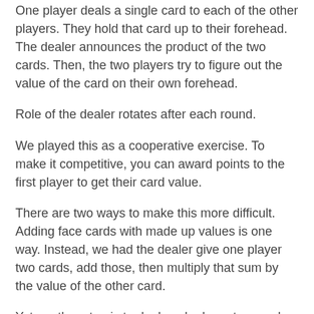One player deals a single card to each of the other players. They hold that card up to their forehead. The dealer announces the product of the two cards. Then, the two players try to figure out the value of the card on their own forehead.
Role of the dealer rotates after each round.
We played this as a cooperative exercise. To make it competitive, you can award points to the first player to get their card value.
There are two ways to make this more difficult. Adding face cards with made up values is one way. Instead, we had the dealer give one player two cards, add those, then multiply that sum by the value of the other card.
Yet another step is to deal each player two cards, then multiply the two sums.
When playing this version at home, J1 came up with the idea of giving clues to figure out the value of the two individual cards. This was a really interesting activity because it got him to think about what characteristics help specify the tw...